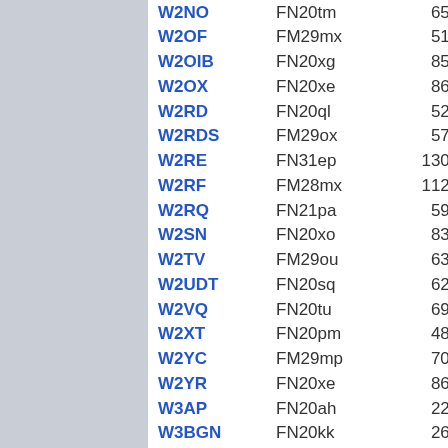| Callsign | Grid | Distance |
| --- | --- | --- |
| W2NO | FN20tm | 65.7 |
| W2OF | FM29mx | 51.3 |
| W2OIB | FN20xg | 85.1 |
| W2OX | FN20xe | 86.5 |
| W2RD | FN20ql | 52.6 |
| W2RDS | FM29ox | 57.7 |
| W2RE | FN31ep | 130.0 |
| W2RF | FM28mx | 112.3 |
| W2RQ | FN21pa | 59.1 |
| W2SN | FN20xo | 83.3 |
| W2TV | FM29ou | 63.7 |
| W2UDT | FN20sq | 62.3 |
| W2VQ | FN20tu | 69.4 |
| W2XT | FN20pm | 48.1 |
| W2YC | FM29mp | 70.0 |
| W2YR | FN20xe | 86.5 |
| W3AP | FN20ah | 22.7 |
| W3BGN | FN20kk | 26.9 |
| W3CC | FN20me | 42.0 |
| W3CNB | FM19sj | 89.4 |
| W3DMC | FN20la | 46.3 |
| W3EA | FN20ek | 5.8 |
| W3FIZ | FN20ig | 24.6 |